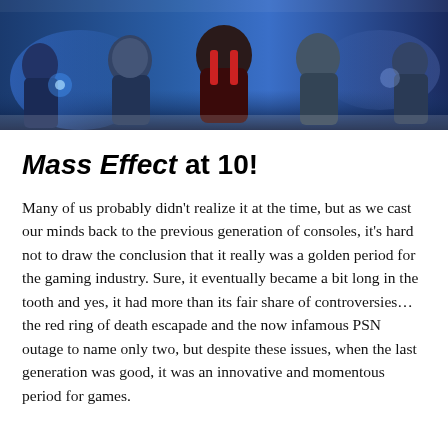[Figure (photo): Hero image showing characters from Mass Effect game, figures in armor/suits against a blue background]
Mass Effect at 10!
Many of us probably didn't realize it at the time, but as we cast our minds back to the previous generation of consoles, it's hard not to draw the conclusion that it really was a golden period for the gaming industry. Sure, it eventually became a bit long in the tooth and yes, it had more than its fair share of controversies... the red ring of death escapade and the now infamous PSN outage to name only two, but despite these issues, when the last generation was good, it was an innovative and momentous period for games.